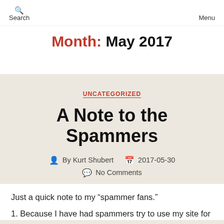Search   Menu
Month: May 2017
UNCATEGORIZED
A Note to the Spammers
By Kurt Shubert   2017-05-30   No Comments
Just a quick note to my “spammer fans.”
1. Because I have had spammers try to use my site for